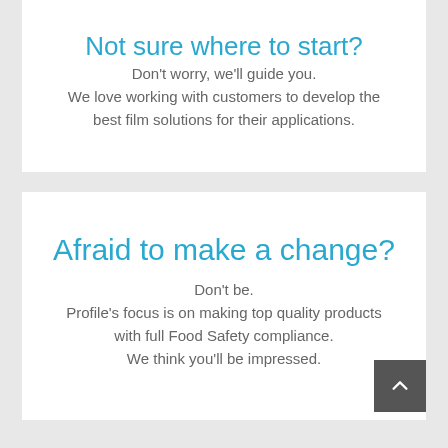Not sure where to start?
Don't worry, we'll guide you.
We love working with customers to develop the best film solutions for their applications.
Afraid to make a change?
Don't be.
Profile's focus is on making top quality products with full Food Safety compliance.
We think you'll be impressed.